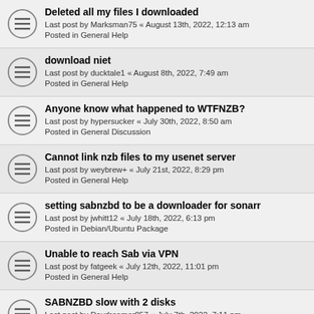Deleted all my files I downloaded
Last post by Marksman75 « August 13th, 2022, 12:13 am
Posted in General Help
download niet
Last post by ducktale1 « August 8th, 2022, 7:49 am
Posted in General Help
Anyone know what happened to WTFNZB?
Last post by hypersucker « July 30th, 2022, 8:50 am
Posted in General Discussion
Cannot link nzb files to my usenet server
Last post by weybrew+ « July 21st, 2022, 8:29 pm
Posted in General Help
setting sabnzbd to be a downloader for sonarr
Last post by jwhitt12 « July 18th, 2022, 6:13 pm
Posted in Debian/Ubuntu Package
Unable to reach Sab via VPN
Last post by fatgeek « July 12th, 2022, 11:01 pm
Posted in General Help
SABNZBD slow with 2 disks
Last post by Daydreamer057 « July 7th, 2022, 7:11 pm
Posted in General Help
Now getting new error on download